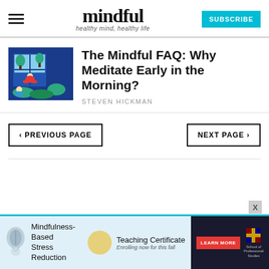mindful — healthy mind, healthy life — SUBSCRIBE
[Figure (illustration): Illustration of a person meditating indoors with trees and a window in a blue/green color scheme]
The Mindful FAQ: Why Meditate Early in the Morning?
STEVEN HICKMAN
‹ PREVIOUS PAGE
NEXT PAGE ›
[Figure (infographic): Advertisement banner for Mindfulness-Based Stress Reduction Teaching Certificate, enrolling now for this fall, with Learn More button and School of Professional Studies logo]